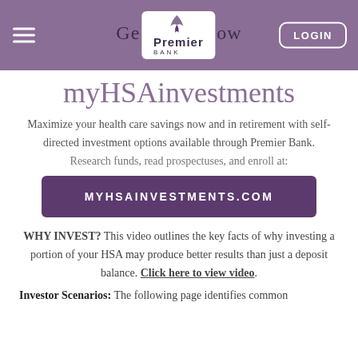Get to grow myHSAinvestments — Premier Bank — LOGIN
myHSAinvestments
Maximize your health care savings now and in retirement with self-directed investment options available through Premier Bank.
Research funds, read prospectuses, and enroll at:
MYHSAINVESTMENTS.COM
WHY INVEST? This video outlines the key facts of why investing a portion of your HSA may produce better results than just a deposit balance. Click here to view video.
Investor Scenarios: The following page identifies common